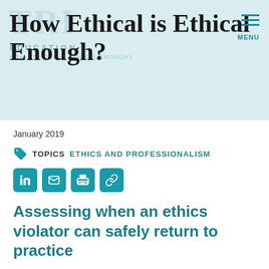How Ethical is Ethical Enough?
January 2019
TOPICS  ETHICS AND PROFESSIONALISM
Assessing when an ethics violator can safely return to practice
Lawyers take the bar exam. Physicians take the United States Medical Licensing Examination (USMLE). These and similar